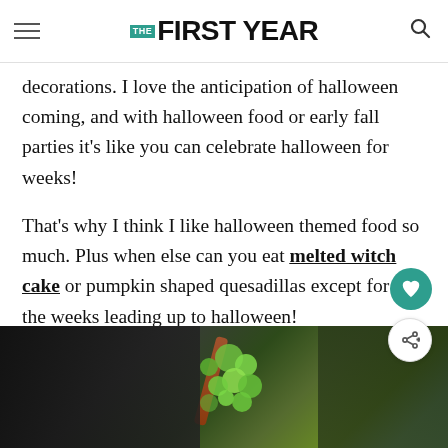THE FIRST YEAR
decorations. I love the anticipation of halloween coming, and with halloween food or early fall parties it’s like you can celebrate halloween for weeks!
That’s why I think I like halloween themed food so much. Plus when else can you eat melted witch cake or pumpkin shaped quesadillas except for in the weeks leading up to halloween!
[Figure (photo): Close-up photo of green food/dessert items (possibly green candy or frosting) on a stick, with blurred dark background]